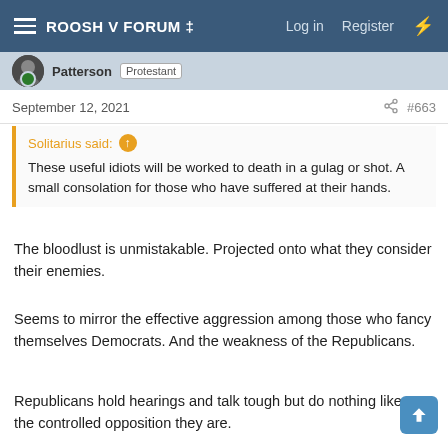ROOSH V FORUM ‡ | Log in | Register
Patterson Protestant
September 12, 2021 #663
Solitarius said: ↑ These useful idiots will be worked to death in a gulag or shot. A small consolation for those who have suffered at their hands.
The bloodlust is unmistakable. Projected onto what they consider their enemies.
Seems to mirror the effective aggression among those who fancy themselves Democrats. And the weakness of the Republicans.
Republicans hold hearings and talk tough but do nothing like the controlled opposition they are.